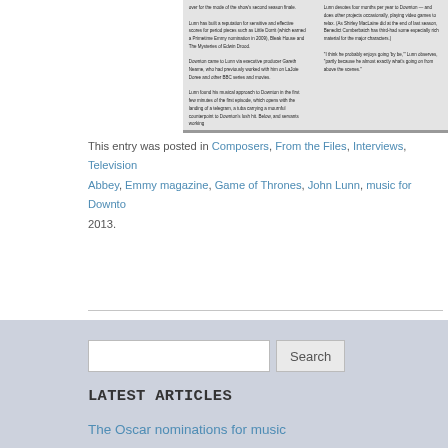[Figure (screenshot): Scanned article page showing two columns of text from what appears to be a magazine article about composers/television music]
This entry was posted in Composers, From the Files, Interviews, Television, and tagged Downton Abbey, Emmy magazine, Game of Thrones, John Lunn, music for Downton Abbey, on November 15, 2013.
LATEST ARTICLES
The Oscar nominations for music
Oscar voting ends; Globe song musings
The Hans Zimmer Bond exclusive
Musical challenges of ABC's live “Little Mermaid”
John Williams on “Rise of Skywalker”